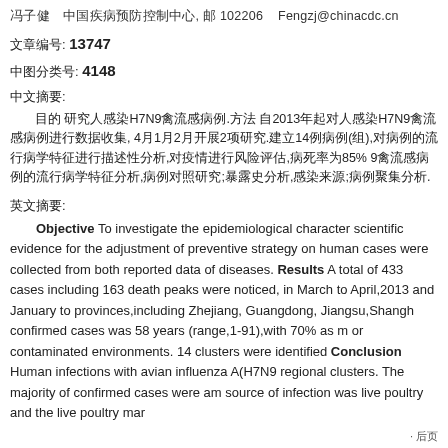冯子健　中国疾病预防控制中心, 邮 102206   Fengzj@chinacdc.cn
文章编号: 13747
中图分类号: 4148
中文摘要:
目的 研究人感染H7N9禽流感病例. 方法 自2013年起对人感染H7N9禽流感病例进行数据收集,4月1月2月开展2项研究. 建立14例病例(组),对病例的流行病学特征进行描述性分析,对疫情进行风险评估,病死率为85%,H7N9禽流感病例的流行病学特征分析,病例对照研究;暴露史分析,感染来源;病例聚集分析.
英文摘要:
Objective To investigate the epidemiological characteristics and provide scientific evidence for the adjustment of preventive strategy. Methods Data on human cases were collected from both reported data of notifiable diseases. Results A total of 433 cases including 163 deaths. Two epidemic peaks were noticed, in March to April,2013 and January to February. Many provinces,including Zhejiang, Guangdong, Jiangsu,Shanghai. Median age of confirmed cases was 58 years (range,1-91),with 70% as male. Live poultry or contaminated environments. 14 clusters were identified among the cases. Conclusion Human infections with avian influenza A(H7N9) showed temporal regional clusters. The majority of confirmed cases were among older males. source of infection was live poultry and the live poultry mar
· 后页